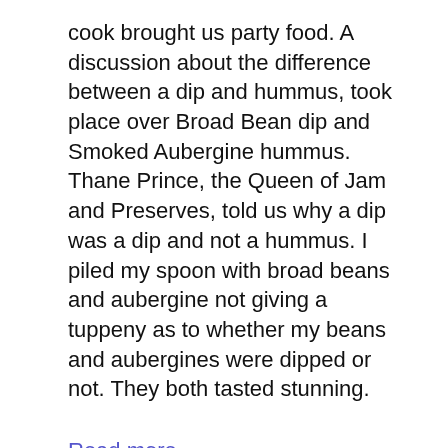cook brought us party food. A discussion about the difference between a dip and hummus, took place over Broad Bean dip and Smoked Aubergine hummus.
Thane Prince, the Queen of Jam and Preserves, told us why a dip was a dip and not a hummus. I piled my spoon with broad beans and aubergine not giving a tuppeny as to whether my beans and aubergines were dipped or not. They both tasted stunning.
Read more
Uncategorised